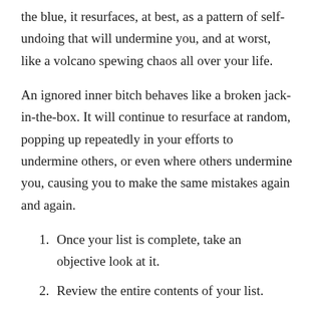the blue, it resurfaces, at best, as a pattern of self-undoing that will undermine you, and at worst, like a volcano spewing chaos all over your life.
An ignored inner bitch behaves like a broken jack-in-the-box. It will continue to resurface at random, popping up repeatedly in your efforts to undermine others, or even where others undermine you, causing you to make the same mistakes again and again.
Once your list is complete, take an objective look at it.
Review the entire contents of your list.
In amongst the list of cons, you might actually find some valid points worth considering, such as: